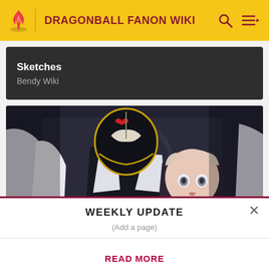DRAGONBALL FANON WIKI
Sketches
Bendy Wiki
[Figure (illustration): Anime-style scene with a masked villain in a black helmet with red bat symbol grabbing a light-haired anime character in a dark jacket]
WEEKLY UPDATE
(Add a page)
READ MORE